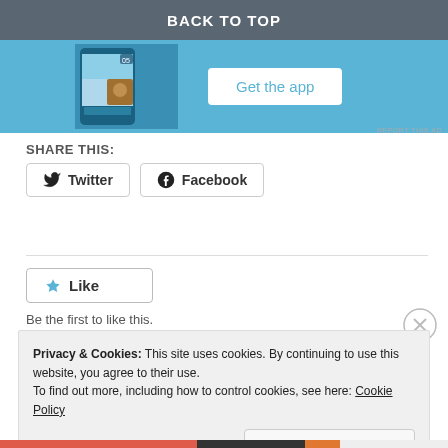[Figure (screenshot): App advertisement banner with 'BACK TO TOP' text and 'Get the app' button on blue background]
SHARE THIS:
Twitter  Facebook
Like
Be the first to like this.
Privacy & Cookies: This site uses cookies. By continuing to use this website, you agree to their use.
To find out more, including how to control cookies, see here: Cookie Policy
Close and accept